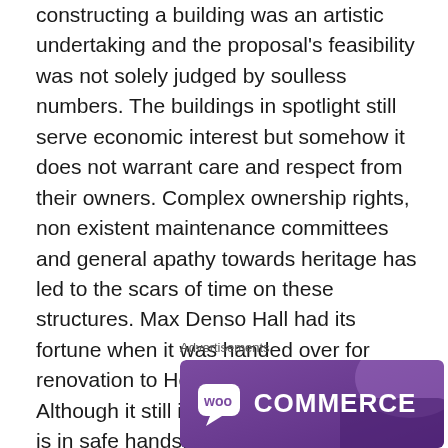constructing a building was an artistic undertaking and the proposal's feasibility was not solely judged by soulless numbers. The buildings in spotlight still serve economic interest but somehow it does not warrant care and respect from their owners. Complex ownership rights, non existent maintenance committees and general apathy towards heritage has led to the scars of time on these structures. Max Denso Hall had its fortune when it was handed over for renovation to Heritage Foundation. Although it still is not open for public but is in safe hands. Jahangir Kothari Building, Mandi Wala Building and Mercantile Cooperative Bank Building have not enjoyed such change of fortune.
Advertisements
[Figure (logo): WooCommerce advertisement banner with purple gradient background and white WooCommerce logo text with speech bubble icon]